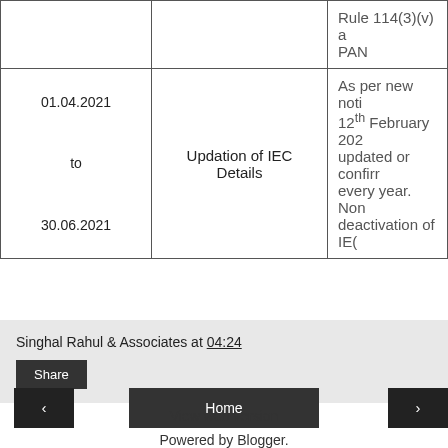| Date | Subject | Details |
| --- | --- | --- |
|  |  | Rule 114(3)(v) a... PAN |
| 01.04.2021 to 30.06.2021 | Updation of IEC Details | As per new noti... 12th February 202... updated or confirr... every year. Non ... deactivation of IE( |
Singhal Rahul & Associates at 04:24
Share
View web version
Powered by Blogger.